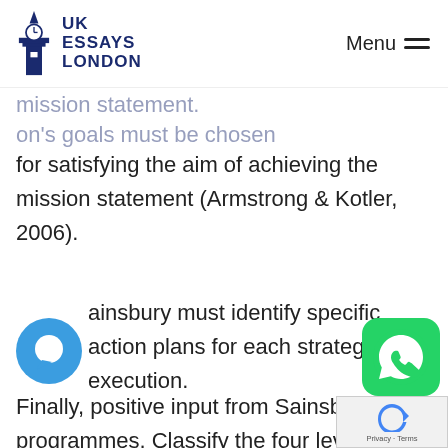UK Essays London | Menu
mission statement (Armstrong & Kotler, 2006).
Sainsbury must identify specific action plans for each strategy's execution.
Finally, positive input from Sainsbury's consumers is used to monitor and adjust the programmes. Classify the four levels of management in a diversified organisation and briefly outline each